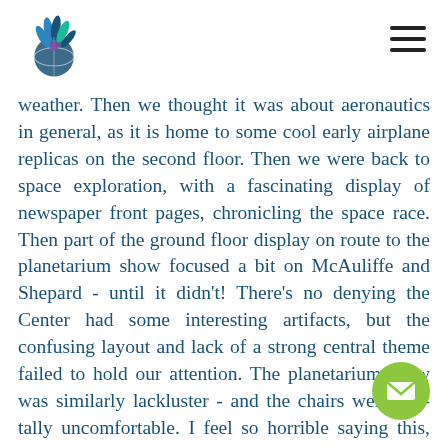[Logo] [Hamburger menu]
weather. Then we thought it was about aeronautics in general, as it is home to some cool early airplane replicas on the second floor. Then we were back to space exploration, with a fascinating display of newspaper front pages, chronicling the space race. Then part of the ground floor display on route to the planetarium show focused a bit on McAuliffe and Shepard - until it didn't! There's no denying the Center had some interesting artifacts, but the confusing layout and lack of a strong central theme failed to hold our attention. The planetarium show was similarly lackluster - and the chairs were brutally uncomfortable. I feel so horrible saying this, but we just didn't have a great time.